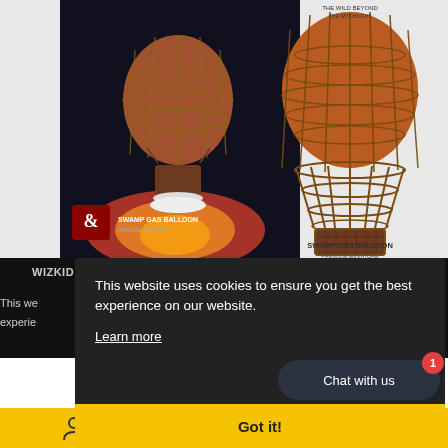[Figure (photo): Product photo showing a Dungeons & Dragons WizKids 'Swamp Gas Balloon' premium miniature. Left side shows the product in its black box packaging with the D&D ampersand logo and the product name 'Swamp Gas Balloon Premium Miniature'. Right side shows the assembled miniature — a steampunk hot air balloon with an orange/brown spherical balloon top covered in rope netting, and a wicker basket suspended below by wooden struts, mounted on a clear stand.]
WIZKID
This website uses cookies to ensure you get the best experience on our website.
Learn more
Got it!
Chat with us